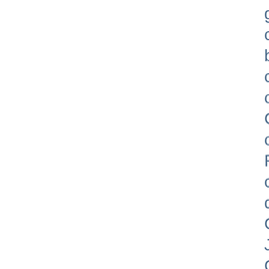glee club; name cards; photos of buildings on campus; "Youth on the Campus Carleton House of Representatives cartoon; YMCA; dance cards; Club Carleton Junior Carnival; Christmas formal; Winter Carnival correspondence